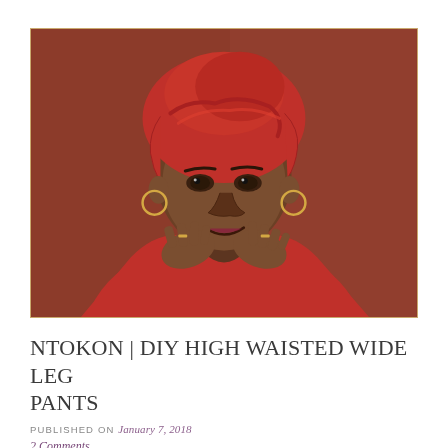[Figure (photo): A smiling woman wearing a red headwrap/gele and red top, with hoop earrings and rings, holding her hands up near her chin against a warm reddish-brown background. The photo is framed with a thin gold/tan border.]
NTOKON | DIY HIGH WAISTED WIDE LEG PANTS
PUBLISHED ON January 7, 2018
2 Comments